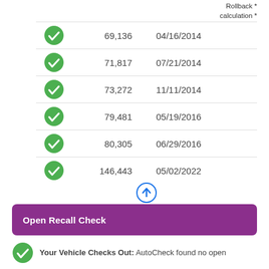|  | Mileage | Date | Rollback calculation * |
| --- | --- | --- | --- |
| ✓ | 69,136 | 04/16/2014 |  |
| ✓ | 71,817 | 07/21/2014 |  |
| ✓ | 73,272 | 11/11/2014 |  |
| ✓ | 79,481 | 05/19/2016 |  |
| ✓ | 80,305 | 06/29/2016 |  |
| ✓ | 146,443 | 05/02/2022 |  |
Open Recall Check
Your Vehicle Checks Out: AutoCheck found no open